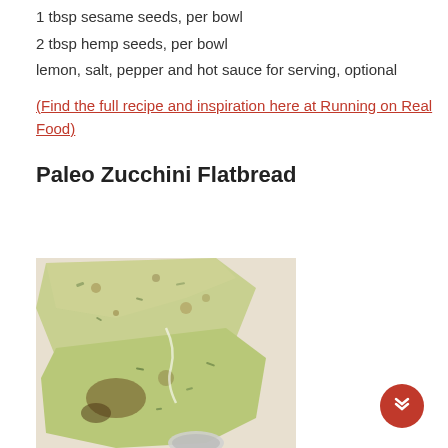1 tbsp sesame seeds, per bowl
2 tbsp hemp seeds, per bowl
lemon, salt, pepper and hot sauce for serving, optional
(Find the full recipe and inspiration here at Running on Real Food)
Paleo Zucchini Flatbread
[Figure (photo): Top-down photo of paleo zucchini flatbread broken into pieces on a white surface, showing green herb-flecked texture with golden-brown spots]